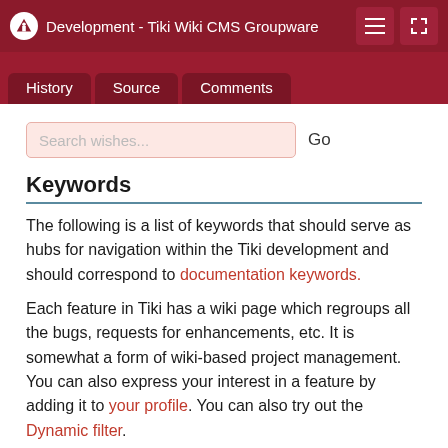Development - Tiki Wiki CMS Groupware
History | Source | Comments
Search wishes...
Keywords
The following is a list of keywords that should serve as hubs for navigation within the Tiki development and should correspond to documentation keywords.
Each feature in Tiki has a wiki page which regroups all the bugs, requests for enhancements, etc. It is somewhat a form of wiki-based project management. You can also express your interest in a feature by adding it to your profile. You can also try out the Dynamic filter.